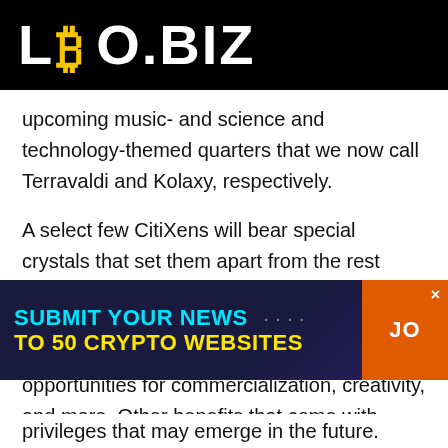LBO.BIZ
upcoming music- and science and technology-themed quarters that we now call Terravaldi and Kolaxy, respectively.
A select few CitiXens will bear special crystals that set them apart from the rest rarity-wise. In addition, CitiXen holders will have full Creative Commons (CC0) IP rights to their CitiXens, unlocking premium opportunities for commercialization, creativity, and more. Other benefits that come with each CitiXen
[Figure (infographic): Ad banner with dark blue/purple background. Text: 'SUBMIT YOUR NEWS TO 50 CRYPTO WEBSITES' in cyan and yellow. Orange button on right showing 'JO'. Close X button top right.]
privileges that may emerge in the future.